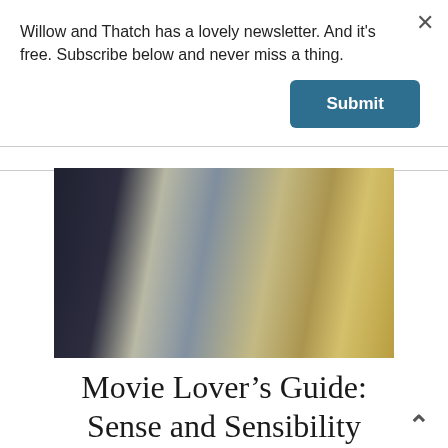Willow and Thatch has a lovely newsletter. And it's free. Subscribe below and never miss a thing.
Submit
×
[Figure (photo): Cropped photograph showing women in period costume dresses — dark navy, light blue, and yellow floral gowns — reminiscent of a Regency-era film scene.]
Movie Lover's Guide: Sense and Sensibility
^